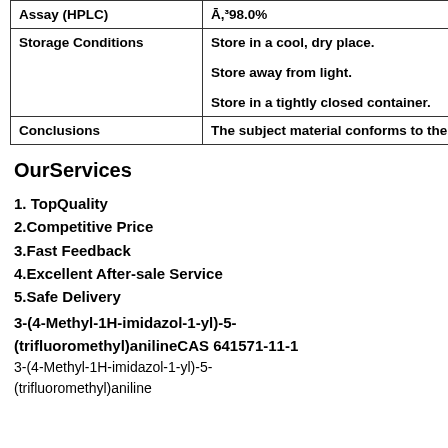| Assay (HPLC) | Ā,³98.0% |
| Storage  Conditions | Store in a cool, dry place.
Store away from light.
Store in a tightly closed container. |
| Conclusions | The subject material conforms to the |
OurServices
1. TopQuality
2.Competitive Price
3.Fast Feedback
4.Excellent After-sale Service
5.Safe Delivery
3-(4-Methyl-1H-imidazol-1-yl)-5-(trifluoromethyl)anilineCAS 641571-11-1
3-(4-Methyl-1H-imidazol-1-yl)-5-(trifluoromethyl)aniline